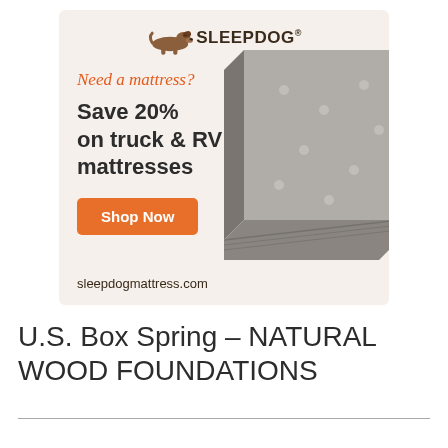[Figure (infographic): Sleepdog mattress advertisement. Logo with cartoon dog and SLEEPDOG text at top. Orange italic text 'Need a mattress?' followed by bold text 'Save 20% on truck & RV mattresses'. Orange 'Shop Now' button. Photo of a grey mattress on right side. URL 'sleepdogmattress.com' at bottom.]
U.S. Box Spring – NATURAL WOOD FOUNDATIONS